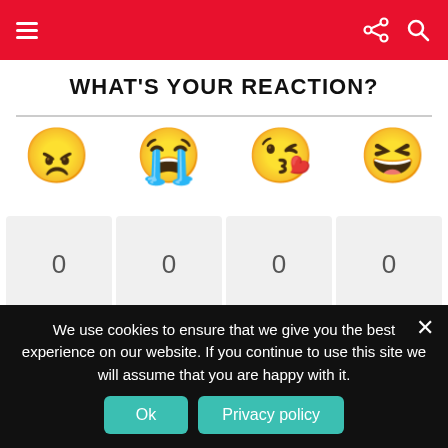Navigation bar with hamburger menu, share icon, and search icon
WHAT'S YOUR REACTION?
[Figure (infographic): Four reaction emojis in a row: Angry (angry face), Cry (loudly crying face), Cute (face blowing a kiss), LOL (grinning squinting face)]
0	0	0	0
ANGRY	CRY	CUTE	LOL
[Figure (infographic): Partial view of more reaction emojis in a row below: fist bump, slightly smiling face, and another emoji partially visible]
We use cookies to ensure that we give you the best experience on our website. If you continue to use this site we will assume that you are happy with it.
Ok	Privacy policy